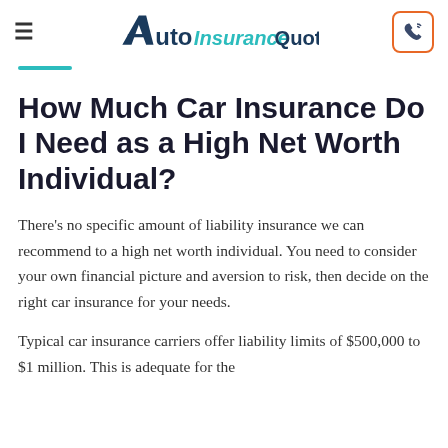AutoInsuranceQuote
How Much Car Insurance Do I Need as a High Net Worth Individual?
There's no specific amount of liability insurance we can recommend to a high net worth individual. You need to consider your own financial picture and aversion to risk, then decide on the right car insurance for your needs.
Typical car insurance carriers offer liability limits of $500,000 to $1 million. This is adequate for the